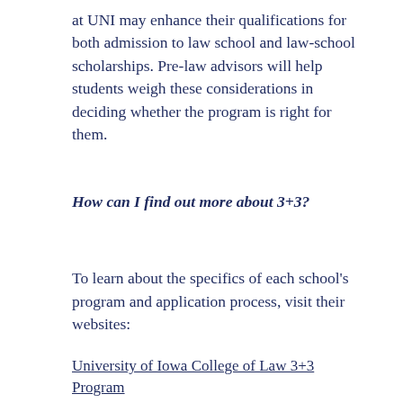at UNI may enhance their qualifications for both admission to law school and law-school scholarships. Pre-law advisors will help students weigh these considerations in deciding whether the program is right for them.
How can I find out more about 3+3?
To learn about the specifics of each school's program and application process, visit their websites:
University of Iowa College of Law 3+3 Program
Drake University Law School 3+3 Program